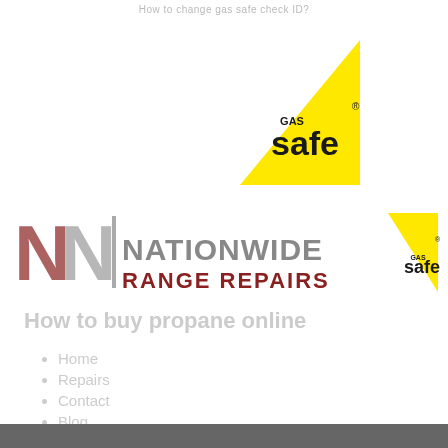How to change gas safe check ID?
[Figure (logo): Gas Safe Register logo — yellow right-triangle shape with 'GAS safe' text and registered trademark symbol in dark colour]
[Figure (logo): Nationwide Range Repairs logo — stylised N letters in dark red and grey, vertical bar, NATIONWIDE in grey, RANGE REPAIRS in dark red, Gas Safe logo badge on right]
How to buy propane online
Home
Repairs
Contact
Blog
Contact Us